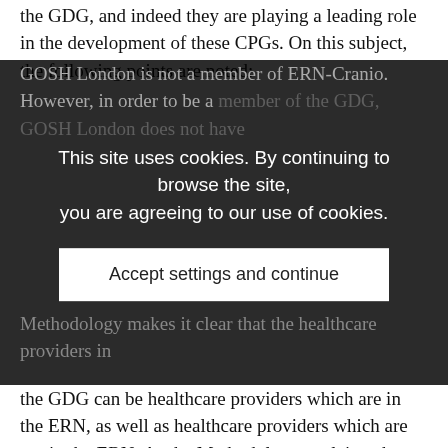the GDG, and indeed they are playing a leading role in the development of these CPGs. On this subject, the following points are noted:
GOSH London is not a member of ERN-Cranio. However, in order to be a member of the GDG, GOSH London does not have to be a member of ERN-Cranio. The EU's Methodology makes it clear that the healthcare providers in the GDG can be healthcare providers which are in the ERN, as well as healthcare providers which are not in the ERN. As the Methodology explains, the GDG has four key constituents, one of which is healthcare professionals; these can be
“members of the corresponding European Reference Network (ERN) and, depending on the disease, any other professional, usually involved in the care of the patient with the rare condition”.
The Methodology does not require membership in an ERN to be a member of the ERN’s GDG for a CPG development project.
The goal is to produce the best possible CPGs. To produce the